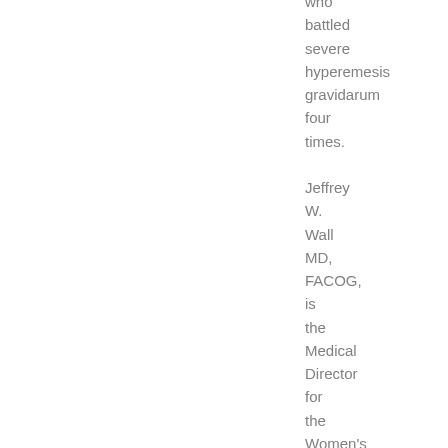who battled severe hyperemesis gravidarum four times. Jeffrey W. Wall MD, FACOG, is the Medical Director for the Women's Health and Wellness Center at